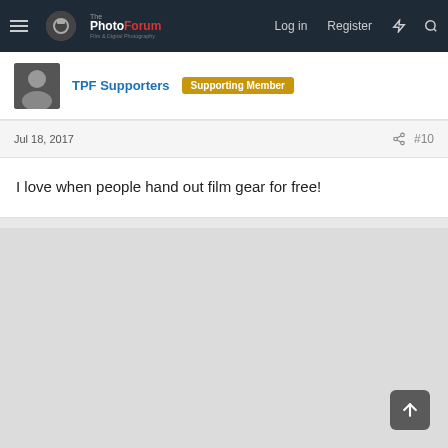The PhotoForum — Log in  Register
TPF Supporters  Supporting Member
Jul 18, 2017  #10
I love when people hand out film gear for free!